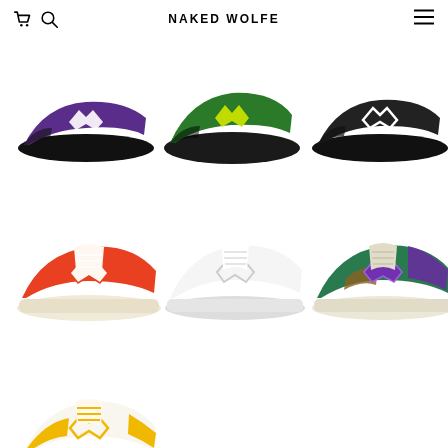NAKED WOLFE
[Figure (photo): Grid of 7 colorful sneakers/shoes from Naked Wolfe brand: Row 1 - purple slip-on, green/yellow slip-on, black slip-on; Row 2 - orange/white sneaker, all-white sneaker, green/purple/brown sneaker; Row 3 - yellow/white sneaker]
[Figure (screenshot): E-commerce website header with cart icon, search icon, NAKED WOLFE brand name centered, and hamburger menu icon]